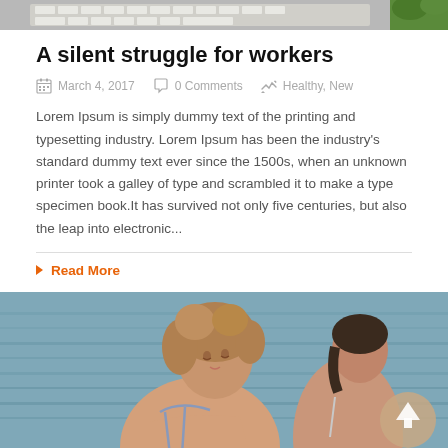[Figure (photo): Partial top image showing a keyboard and plant, cropped at top of page]
A silent struggle for workers
March 4, 2017   0 Comments   Healthy, New
Lorem Ipsum is simply dummy text of the printing and typesetting industry. Lorem Ipsum has been the industry's standard dummy text ever since the 1500s, when an unknown printer took a galley of type and scrambled it to make a type specimen book.It has survived not only five centuries, but also the leap into electronic...
Read More
[Figure (photo): Two women posing near water, one with curly hair in the foreground, one in the background, both appearing to wear swimwear. A circular up-arrow button overlays the bottom right corner.]